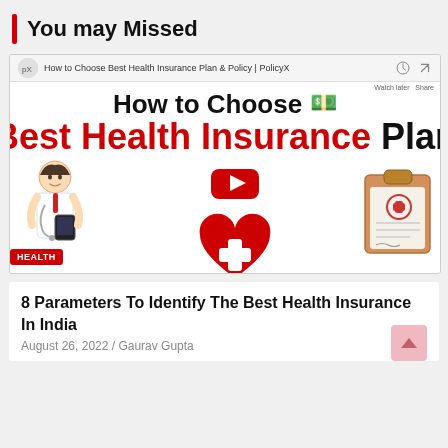You may Missed
[Figure (screenshot): YouTube video thumbnail for 'How to Choose Best Health Insurance Plan & Policy | PolicyX' showing a doctor illustration, red heart with cross, clipboard icon, and YouTube play button. Text reads 'How to Choose' in black and 'Best Health Insurance Plan' in red.]
8 Parameters To Identify The Best Health Insurance In India
August 26, 2022 / Gaurav Gupta